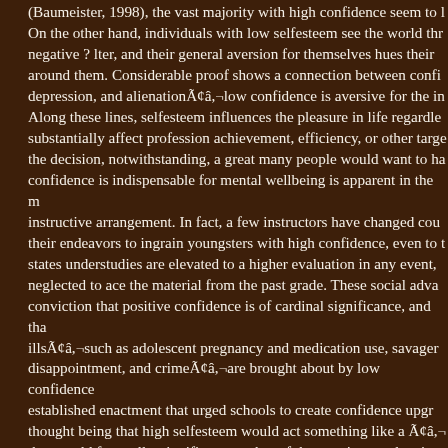(Baumeister, 1998), the vast majority with high confidence seem to l... On the other hand, individuals with low selfesteem see the world thr... negative ? lter, and their general aversion for themselves hues their... around them. Considerable proof shows a connection between confi... depression, and alienationÃ¢â,¬low confidence is aversive for the in... Along these lines, selfesteem influences the pleasure in life regardle... substantially affect profession achievement, efficiency, or other targe... the decision, notwithstanding, a great many people would want to ha... confidence is indispensable for mental wellbeing is apparent in the m... instructive arrangement. In fact, a few instructors have changed cou... their endeavors to ingrain youngsters with high confidence, even to t... states understudies are elevated to a higher evaluation in any event,... neglected to ace the material from the past grade. These social adva... conviction that positive confidence is of cardinal significance, and tha... illsÃ¢â,¬such as adolescent pregnancy and medication use, savager... disappointment, and crimeÃ¢â,¬are brought about by low confidence... established enactment that urged schools to create confidence upgr... thought being that high selfesteem would act something like a Ã¢â,¬... that would forestall a significant number of the genuine conduct issu... (Mecca, Smelser, Vasconcellos, 1989). Albeit cultural ills are not bro... confidence, it is straightforward why strategy producers and instructo... passionate results of negative self-sees. The individuals who feel ali... HEATHERTON AND W%AND...